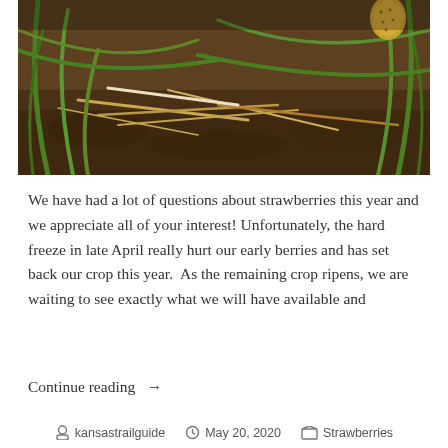[Figure (photo): Close-up ground-level photo of strawberry plants with grass blades, dried straw, and soil visible. A small strawberry is visible in the upper right area.]
We have had a lot of questions about strawberries this year and we appreciate all of your interest! Unfortunately, the hard freeze in late April really hurt our early berries and has set back our crop this year.  As the remaining crop ripens, we are waiting to see exactly what we will have available and
Continue reading →
kansastrailguide  May 20, 2020  Strawberries